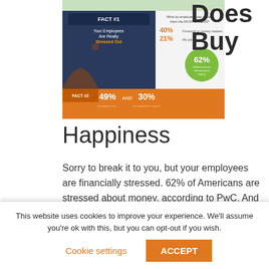[Figure (infographic): Infographic showing employee financial stress facts. FACT #1: Your Employees Are Really Stressed Out. What do employees say causes them the MOST STRESS? 40% Financial or money matters, 21% My job. 62% of Americans are stressed about money. FACT #2: 49% AND 30%]
Does Buy
Happiness
Sorry to break it to you, but your employees are financially stressed. 62% of Americans are stressed about money, according to PwC. And when they're stressed, they're less focused at work, less productive, and could even be spending time on the company's dime working on
This website uses cookies to improve your experience. We'll assume you're ok with this, but you can opt-out if you wish.